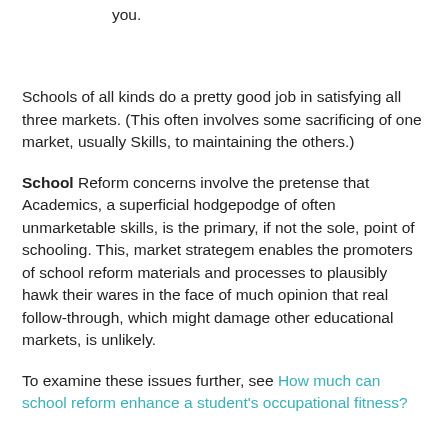you.
Schools of all kinds do a pretty good job in satisfying all three markets. (This often involves some sacrificing of one market, usually Skills, to maintaining the others.)
School Reform concerns involve the pretense that Academics, a superficial hodgepodge of often unmarketable skills, is the primary, if not the sole, point of schooling. This, market strategem enables the promoters of school reform materials and processes to plausibly hawk their wares in the face of much opinion that real follow-through, which might damage other educational markets, is unlikely.
To examine these issues further, see How much can school reform enhance a student's occupational fitness?